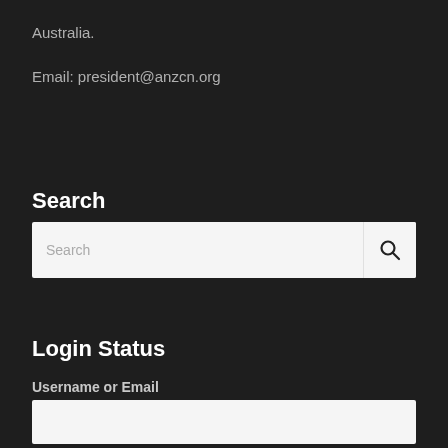Australia.
Email: president@anzcn.org
Search
[Figure (screenshot): Search input box with a magnifying glass icon button on the right, light gray background]
Login Status
Username or Email
[Figure (screenshot): Username or Email text input field, light gray background, empty]